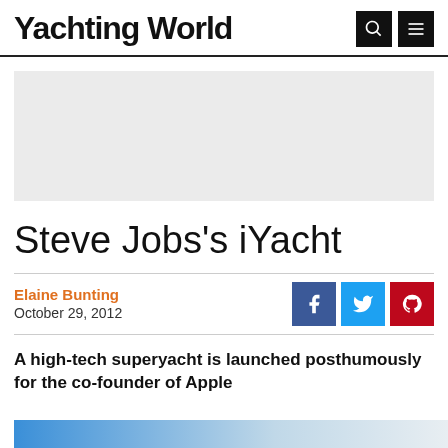Yachting World
[Figure (other): Advertisement placeholder block (light grey rectangle)]
Steve Jobs’s iYacht
Elaine Bunting
October 29, 2012
A high-tech superyacht is launched posthumously for the co-founder of Apple
[Figure (photo): Partial view of a superyacht image at the bottom of the page]